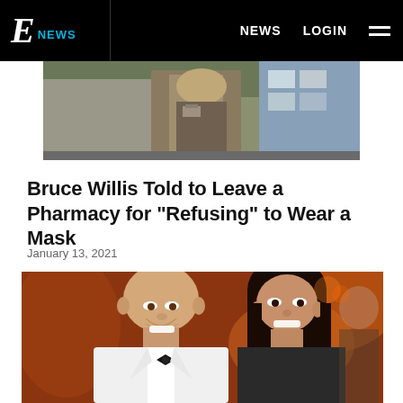E! NEWS — NEWS | LOGIN
[Figure (photo): Top cropped photo showing a person in a jacket and scarf inside a pharmacy/store]
Bruce Willis Told to Leave a Pharmacy for "Refusing" to Wear a Mask
January 13, 2021
[Figure (photo): Photo of Bruce Willis in a white tuxedo with bow tie smiling next to a dark-haired woman smiling, with warm orange-lit background]